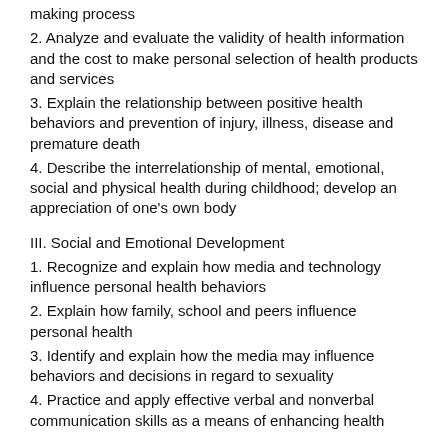making process
2. Analyze and evaluate the validity of health information and the cost to make personal selection of health products and services
3. Explain the relationship between positive health behaviors and prevention of injury, illness, disease and premature death
4. Describe the interrelationship of mental, emotional, social and physical health during childhood; develop an appreciation of one's own body
III. Social and Emotional Development
1. Recognize and explain how media and technology influence personal health behaviors
2. Explain how family, school and peers influence personal health
3. Identify and explain how the media may influence behaviors and decisions in regard to sexuality
4. Practice and apply effective verbal and nonverbal communication skills as a means of enhancing health